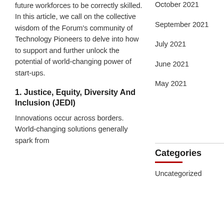future workforces to be correctly skilled. In this article, we call on the collective wisdom of the Forum's community of Technology Pioneers to delve into how to support and further unlock the potential of world-changing power of start-ups.
1. Justice, Equity, Diversity And Inclusion (JEDI)
Innovations occur across borders. World-changing solutions generally spark from
October 2021
September 2021
July 2021
June 2021
May 2021
Categories
Uncategorized